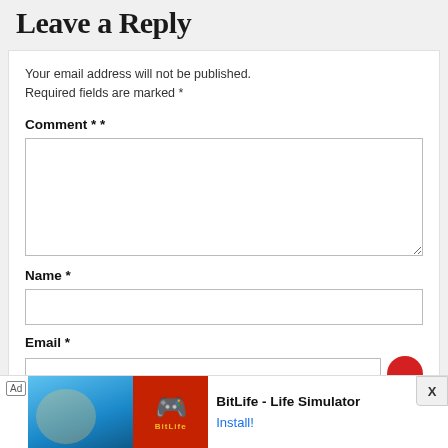Leave a Reply
Your email address will not be published. Required fields are marked *
Comment * *
Name *
Email *
[Figure (screenshot): Ad banner for BitLife - Life Simulator with Install button and X close button]